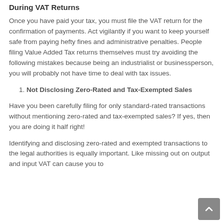During VAT Returns
Once you have paid your tax, you must file the VAT return for the confirmation of payments. Act vigilantly if you want to keep yourself safe from paying hefty fines and administrative penalties. People filing Value Added Tax returns themselves must try avoiding the following mistakes because being an industrialist or businessperson, you will probably not have time to deal with tax issues.
1. Not Disclosing Zero-Rated and Tax-Exempted Sales
Have you been carefully filing for only standard-rated transactions without mentioning zero-rated and tax-exempted sales? If yes, then you are doing it half right!
Identifying and disclosing zero-rated and exempted transactions to the legal authorities is equally important. Like missing out on output and input VAT can cause you to